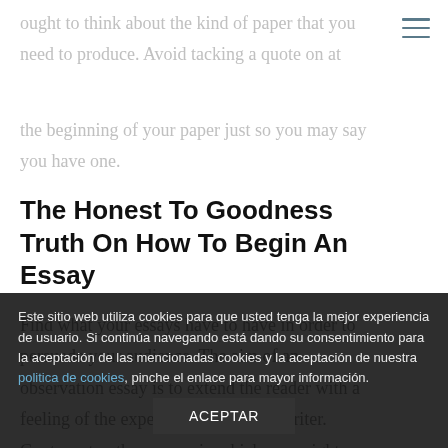ought to think about the kind of paper that you need to produce. Avoid tacking a quote on at the beginning of your paper just so you may say you have one.
The Honest To Goodness Truth On How To Begin An Essay
Find what your essays have to have in order to persuade your audience. The aim of an observation essay is to extend the reader with a feeling of the experience felt by the writer. Contrary to other essays in which you might
Este sitio web utiliza cookies para que usted tenga la mejor experiencia de usuario. Si continúa navegando está dando su consentimiento para la aceptación de las mencionadas cookies y la aceptación de nuestra politica de cookies, pinche el enlace para mayor información.
ACEPTAR